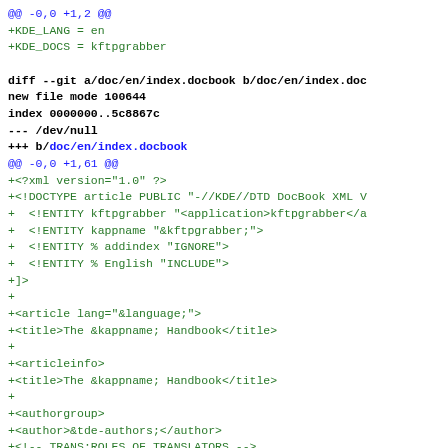@@ -0,0 +1,2 @@
+KDE_LANG = en
+KDE_DOCS = kftpgrabber

diff --git a/doc/en/index.docbook b/doc/en/index.doc
new file mode 100644
index 0000000..5c8867c
--- /dev/null
+++ b/doc/en/index.docbook
@@ -0,0 +1,61 @@
+<?xml version="1.0" ?>
+<!DOCTYPE article PUBLIC "-//KDE//DTD DocBook XML V
+  <!ENTITY kftpgrabber "<application>kftpgrabber</a
+  <!ENTITY kappname "&kftpgrabber;">
+  <!ENTITY % addindex "IGNORE">
+  <!ENTITY % English "INCLUDE">
+]>
+
+<article lang="&language;">
+<title>The &kappname; Handbook</title>
+
+<articleinfo>
+<title>The &kappname; Handbook</title>
+
+<authorgroup>
+<author>&tde-authors;</author>
+<!-- TRANS:ROLES_OF_TRANSLATORS -->
+</authorgroup>
+
+<releaseinfo>&tde-release-version;</releaseinfo>
+<date>Reviewed: &tdo_release_date;</date>